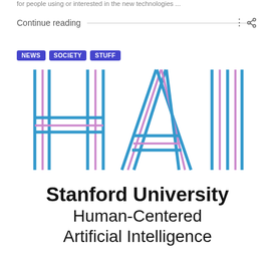for people using or interested in the new technologies ...
Continue reading
NEWS
SOCIETY
STUFF
[Figure (logo): HAI logo made of stylized letters H, A, I in blue and pink parallel lines on white background]
Stanford University Human-Centered Artificial Intelligence